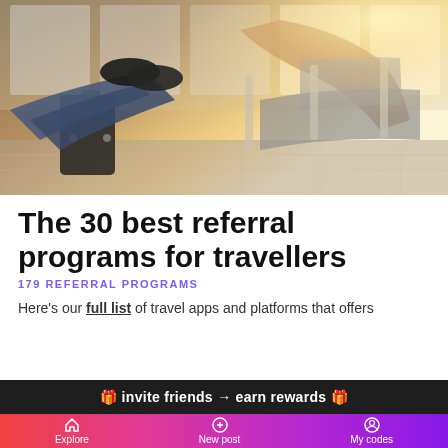[Figure (photo): Person sitting in airport seating with luggage, feet up, using phone. Warm backlit airport interior with large windows.]
The 30 best referral programs for travellers
179 REFERRAL PROGRAMS
Here's our full list of travel apps and platforms that offers
🎁 invite friends → earn rewards 🎁
Explore   New post   My codes